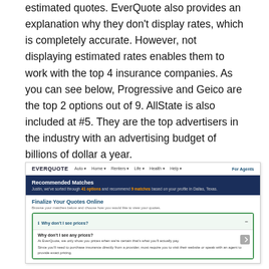estimated quotes. EverQuote also provides an explanation why they don't display rates, which is completely accurate. However, not displaying estimated rates enables them to work with the top 4 insurance companies. As you can see below, Progressive and Geico are the top 2 options out of 9. AllState is also included at #5. They are the top advertisers in the industry with an advertising budget of billions of dollar a year.
[Figure (screenshot): Screenshot of EverQuote website showing navigation bar with Auto, Home, Renters, Life, Health, Help menus and 'For Agents' link. Below is a dark navy 'Recommended Matches' banner stating 'Justin, we've sorted through 41 options and recommend 9 matches based on your profile in Dallas, Texas.' Then a white section 'Finalize Your Quotes Online' with a green-bordered box showing 'Why don't I see prices?' expanded with answer text explaining EverQuote only shows prices when certain of actual price.]